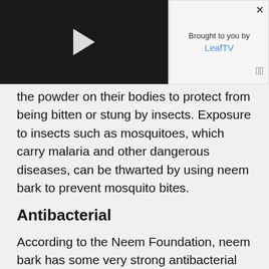[Figure (screenshot): Video player thumbnail with dark background and white play button triangle]
Brought to you by LeafTV
the powder on their bodies to protect from being bitten or stung by insects. Exposure to insects such as mosquitoes, which carry malaria and other dangerous diseases, can be thwarted by using neem bark to prevent mosquito bites.
Antibacterial
According to the Neem Foundation, neem bark has some very strong antibacterial properties. The bark can be made into an oil that will quickly absorb into the skin. Neem bark can be used to treat various body infections and help to kill bacteria on the skin that cause severe skin infections such as acne and infected wounds.